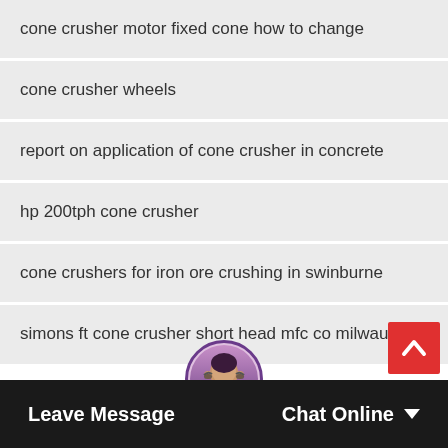cone crusher motor fixed cone how to change
cone crusher wheels
report on application of cone crusher in concrete
hp 200tph cone crusher
cone crushers for iron ore crushing in swinburne
simons ft cone crusher short head mfc co milwauk…
Leave Message
Chat Online